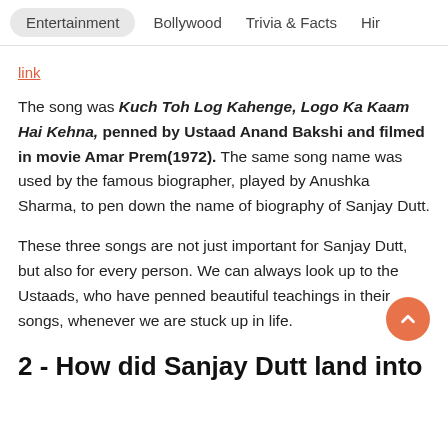Entertainment | Bollywood | Trivia & Facts | Hir
link
The song was Kuch Toh Log Kahenge, Logo Ka Kaam Hai Kehna, penned by Ustaad Anand Bakshi and filmed in movie Amar Prem(1972). The same song name was used by the famous biographer, played by Anushka Sharma, to pen down the name of biography of Sanjay Dutt.
These three songs are not just important for Sanjay Dutt, but also for every person. We can always look up to the Ustaads, who have penned beautiful teachings in their songs, whenever we are stuck up in life.
2 - How did Sanjay Dutt land into